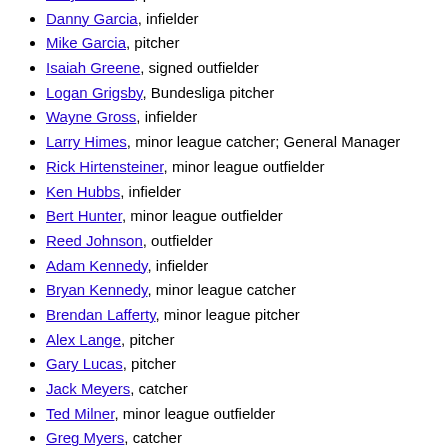Tony Ferreira, pitcher
Danny Garcia, infielder
Mike Garcia, pitcher
Isaiah Greene, signed outfielder
Logan Grigsby, Bundesliga pitcher
Wayne Gross, infielder
Larry Himes, minor league catcher; General Manager
Rick Hirtensteiner, minor league outfielder
Ken Hubbs, infielder
Bert Hunter, minor league outfielder
Reed Johnson, outfielder
Adam Kennedy, infielder
Bryan Kennedy, minor league catcher
Brendan Lafferty, minor league pitcher
Alex Lange, pitcher
Gary Lucas, pitcher
Jack Meyers, catcher
Ted Milner, minor league outfielder
Greg Myers, catcher
Nick Neugebauer, pitcher
Trevor Oaks, pitcher
Steven Okert, pitcher
Mike O'Neill, minor league outfielder
Bill Parsons, pitcher
Brad Pounders, minor league infielder